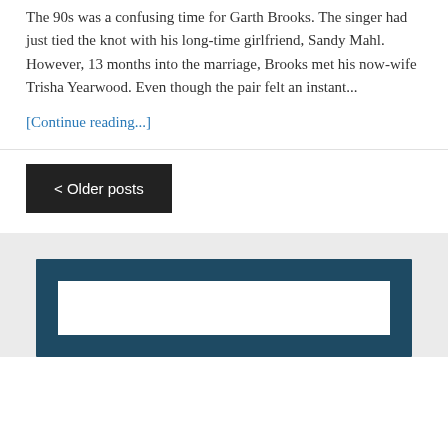The 90s was a confusing time for Garth Brooks. The singer had just tied the knot with his long-time girlfriend, Sandy Mahl. However, 13 months into the marriage, Brooks met his now-wife Trisha Yearwood. Even though the pair felt an instant...
[Continue reading...]
< Older posts
[Figure (other): Footer widget area with dark teal background containing a white search input box]